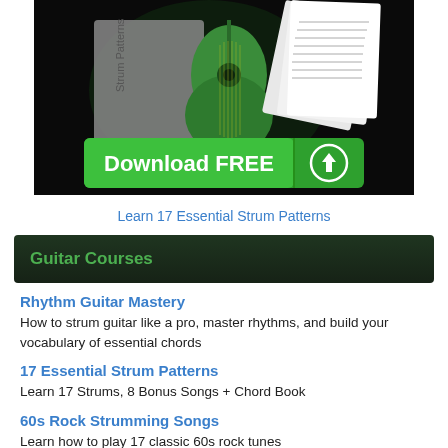[Figure (illustration): Dark-themed banner showing a guitar book and sheet music with a green 'Download FREE' button with a download arrow icon.]
Learn 17 Essential Strum Patterns
Guitar Courses
Rhythm Guitar Mastery - How to strum guitar like a pro, master rhythms, and build your vocabulary of essential chords
17 Essential Strum Patterns - Learn 17 Strums, 8 Bonus Songs + Chord Book
60s Rock Strumming Songs - Learn how to play 17 classic 60s rock tunes